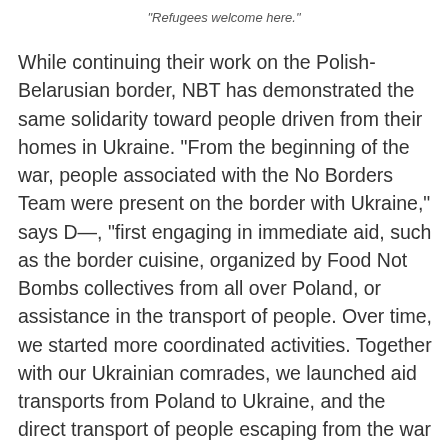"Refugees welcome here."
While continuing their work on the Polish-Belarusian border, NBT has demonstrated the same solidarity toward people driven from their homes in Ukraine. “From the beginning of the war, people associated with the No Borders Team were present on the border with Ukraine,” says D—, “first engaging in immediate aid, such as the border cuisine, organized by Food Not Bombs collectives from all over Poland, or assistance in the transport of people. Over time, we started more coordinated activities. Together with our Ukrainian comrades, we launched aid transports from Poland to Ukraine, and the direct transport of people escaping from the war to Poland.”
“The chaos and confusion surrounding this situation